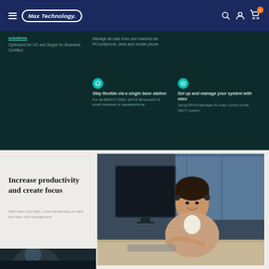Max Technology. [navigation bar with hamburger menu, logo, search, account, and cart icons]
solutions
Optimized for UC and Skype for Business Certified
Manage all calls from one headset via PC/softphone, desk and mobile phone
Stay flexible via a single base station
For all IMPACT 5000, EPOS Bluetooth® & wired headsets or speakerphone
Set up and manage your system with ease
Using EPOS Manager for easy control of the DECT system
Increase productivity and create focus
With clear busy light, noise dampening on calls and easy call management
[Figure (photo): Woman with headset sitting at a desk with a computer monitor in an office environment, smiling]
[Figure (photo): Partial view of a dark office scene at the bottom of page]